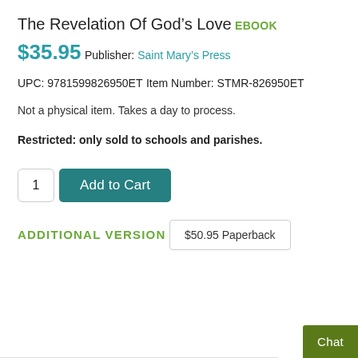The Revelation Of God's Love
EBOOK
$35.95
Publisher: Saint Mary's Press
UPC: 9781599826950ET
Item Number: STMR-826950ET
Not a physical item. Takes a day to process.
Restricted: only sold to schools and parishes.
1  Add to Cart
ADDITIONAL VERSION
$50.95 Paperback
Chat